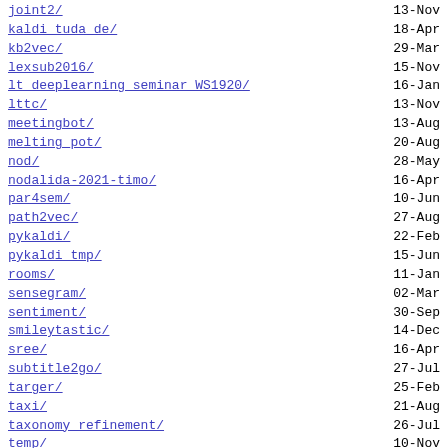joint2/  13-Nov
kaldi_tuda_de/  18-Apr
kb2vec/  29-Mar
lexsub2016/  15-Nov
lt_deeplearning_seminar_WS1920/  16-Jan
lttc/  13-Nov
meetingbot/  13-Aug
melting_pot/  20-Aug
nod/  28-May
nodalida-2021-timo/  16-Apr
par4sem/  10-Jun
path2vec/  27-Aug
pykaldi/  22-Feb
pykaldi_tmp/  15-Jun
rooms/  11-Jan
sensegram/  02-Mar
sentiment/  30-Sep
smileytastic/  14-Dec
sree/  16-Apr
subtitle2go/  27-Jul
targer/  25-Feb
taxi/  21-Aug
taxonomy_refinement/  26-Jul
temp/  10-Nov
twitter/  03-Jan
venkatesh/  01-Mar
wikipedia/  07-May
AI-and-Content-Moderation-AI4Dignity.pdf  10-Sep
README.md  30-Jul
antonis_slides.pdf  09-Sep
cool_authskit_latex.zip  16-Jan